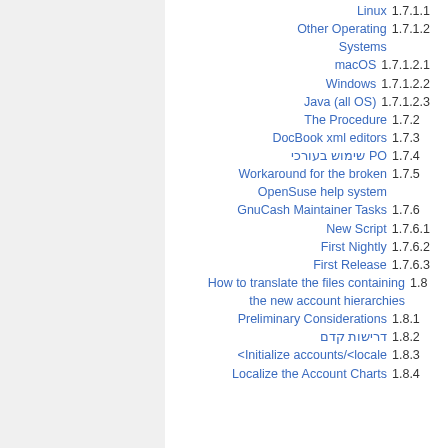Linux 1.7.1.1
Other Operating Systems 1.7.1.2
macOS 1.7.1.2.1
Windows 1.7.1.2.2
Java (all OS) 1.7.1.2.3
The Procedure 1.7.2
DocBook xml editors 1.7.3
שימוש בעורכי PO 1.7.4
Workaround for the broken OpenSuse help system 1.7.5
GnuCash Maintainer Tasks 1.7.6
New Script 1.7.6.1
First Nightly 1.7.6.2
First Release 1.7.6.3
How to translate the files containing the new account hierarchies 1.8
Preliminary Considerations 1.8.1
דרישות קדם 1.8.2
<Initialize accounts/<locale 1.8.3
Localize the Account Charts 1.8.4